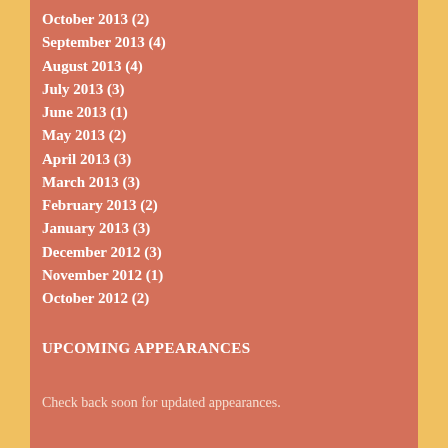October 2013 (2)
September 2013 (4)
August 2013 (4)
July 2013 (3)
June 2013 (1)
May 2013 (2)
April 2013 (3)
March 2013 (3)
February 2013 (2)
January 2013 (3)
December 2012 (3)
November 2012 (1)
October 2012 (2)
UPCOMING APPEARANCES
Check back soon for updated appearances.